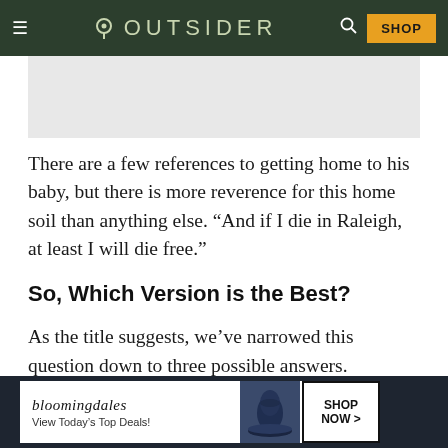OUTSIDER
[Figure (other): Gray advertisement placeholder banner below the navigation header]
There are a few references to getting home to his baby, but there is more reverence for this home soil than anything else. “And if I die in Raleigh, at least I will die free.”
So, Which Version is the Best?
As the title suggests, we’ve narrowed this question down to three possible answers.
[Figure (other): Bloomingdale's advertisement banner: 'View Today’s Top Deals! SHOP NOW >']